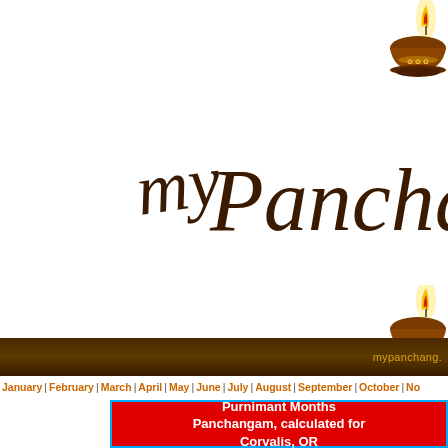[Figure (logo): myPancha script logo in brown cursive lettering on white background]
[Figure (illustration): Diya oil lamp illustration with flame, top right corner]
[Figure (illustration): Diya oil lamp illustration with flame, middle right side]
mypanchang.
January | February | March | April | May | June | July | August | September | October | No
Purnimant Months Panchangam, calculated for Corvalis, OR